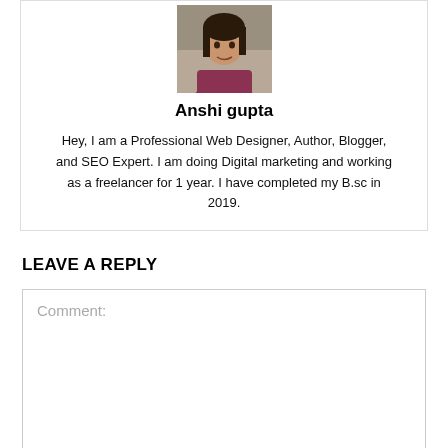[Figure (photo): Profile photo of Anshi gupta, a person in a dark red/maroon top, partially cropped at the top]
Anshi gupta
Hey, I am a Professional Web Designer, Author, Blogger, and SEO Expert. I am doing Digital marketing and working as a freelancer for 1 year. I have completed my B.sc in 2019.
LEAVE A REPLY
Comment: